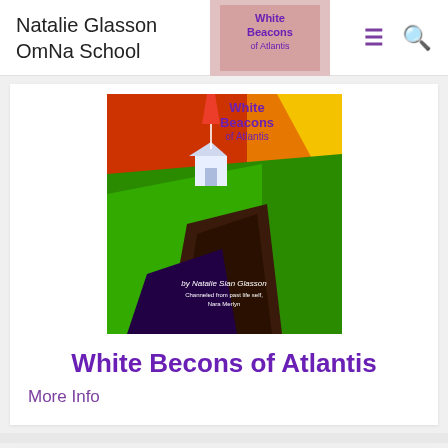Natalie Glasson OmNa School
[Figure (illustration): Book cover of 'White Beacons of Atlantis' by Natalie Sian Glasson. Painting showing a glowing white building on green cliffs above dark rocky formations, with a red and orange sky, purple text title at top, blue water below.]
White Becons of Atlantis
More Info